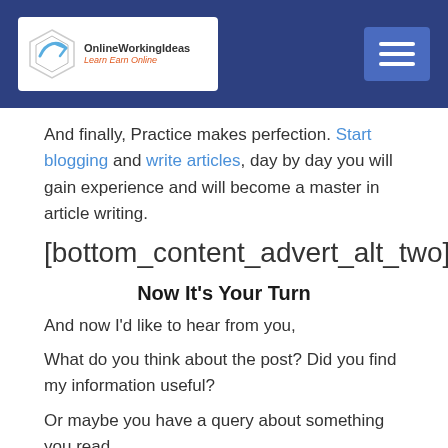OnlineWorkingIdeas - Learn Earn Online
And finally, Practice makes perfection. Start blogging and write articles, day by day you will gain experience and will become a master in article writing.
[bottom_content_advert_alt_two]
Now It’s Your Turn
And now I’d like to hear from you,
What do you think about the post? Did you find my information useful?
Or maybe you have a query about something you read